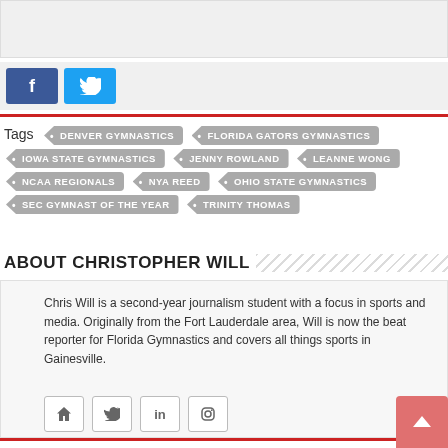[Figure (other): Top banner image area (partially visible, cropped)]
[Figure (other): Social share buttons: Facebook (blue 'f') and Twitter (light blue bird icon)]
Tags  • DENVER GYMNASTICS  • FLORIDA GATORS GYMNASTICS  • IOWA STATE GYMNASTICS  • JENNY ROWLAND  • LEANNE WONG  • NCAA REGIONALS  • NYA REED  • OHIO STATE GYMNASTICS  • SEC GYMNAST OF THE YEAR  • TRINITY THOMAS
ABOUT CHRISTOPHER WILL
Chris Will is a second-year journalism student with a focus in sports and media. Originally from the Fort Lauderdale area, Will is now the beat reporter for Florida Gymnastics and covers all things sports in Gainesville.
[Figure (other): Social profile icon buttons: home, twitter, linkedin, instagram]